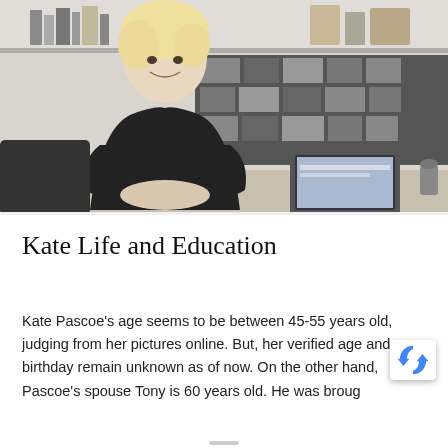[Figure (photo): A person with short blonde/white hair wearing a black top, sitting in a creative studio workspace with shelves, books, a laptop, and a photo collage wall in the background.]
Kate Life and Education
Kate Pascoe's age seems to be between 45-55 years old, judging from her pictures online. But, her verified age and birthday remain unknown as of now. On the other hand, Pascoe's spouse Tony is 60 years old. He was broug